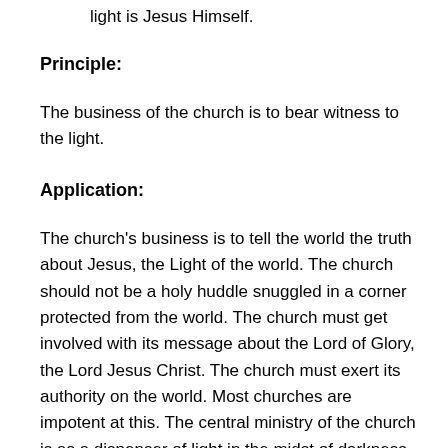light is Jesus Himself.
Principle:
The business of the church is to bear witness to the light.
Application:
The church's business is to tell the world the truth about Jesus, the Light of the world. The church should not be a holy huddle snuggled in a corner protected from the world. The church must get involved with its message about the Lord of Glory, the Lord Jesus Christ. The church must exert its authority on the world. Most churches are impotent at this. The central ministry of the church is as a dispenser of light in the midst of darkness.